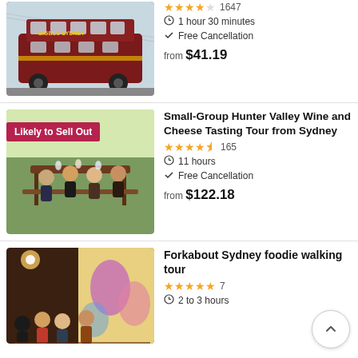[Figure (photo): Big Bus Sydney double-decker bus on street]
1 hour 30 minutes
Free Cancellation
from $41.19
[Figure (photo): Group of people at outdoor wine tasting with badge 'Likely to Sell Out']
Small-Group Hunter Valley Wine and Cheese Tasting Tour from Sydney
165 reviews, 4.5 stars
11 hours
Free Cancellation
from $122.18
[Figure (photo): Group of people at a foodie walking tour in a restaurant]
Forkabout Sydney foodie walking tour
7 reviews, 5 stars
2 to 3 hours